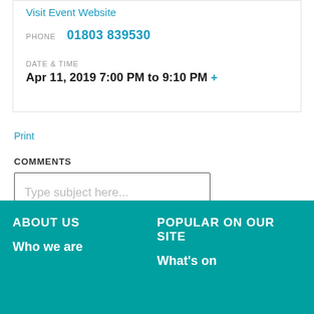Visit Event Website
PHONE  01803 839530
DATE & TIME
Apr 11, 2019 7:00 PM to 9:10 PM +
Print
COMMENTS
Type subject here...
ABOUT US
POPULAR ON OUR SITE
Who we are
What's on